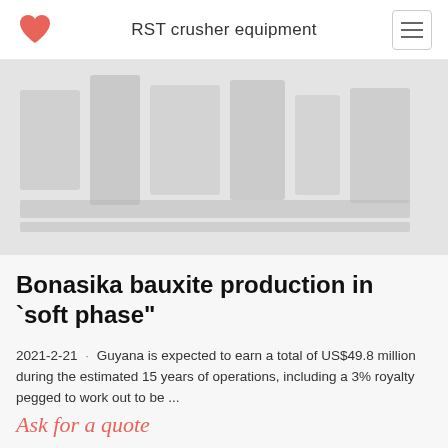RST crusher equipment
[Figure (photo): Hero/banner image showing industrial crusher equipment, muted grayscale tones against light gray background]
Bonasika bauxite production in `soft phase"
2021-2-21 · Guyana is expected to earn a total of US$49.8 million during the estimated 15 years of operations, including a 3% royalty pegged to work out to be ...
Ask for a quote